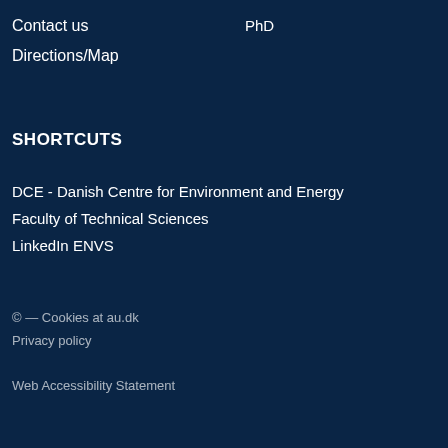Contact us
PhD
Directions/Map
SHORTCUTS
DCE - Danish Centre for Environment and Energy
Faculty of Technical Sciences
LinkedIn ENVS
© — Cookies at au.dk
Privacy policy
Web Accessibility Statement